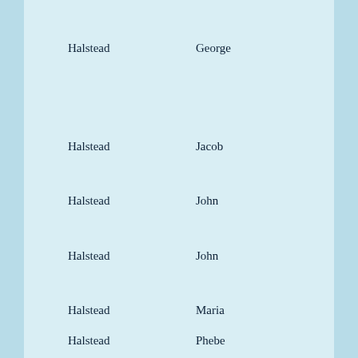Halstead    George
Halstead    Jacob
Halstead    John
Halstead    John
Halstead    Maria
Halstead    Phebe